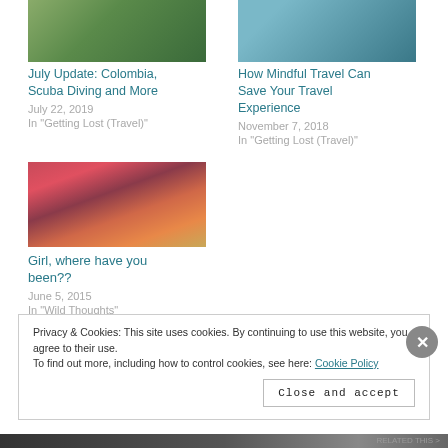[Figure (photo): Partial view of a travel/nature photo (green vegetation), cropped at top]
July Update: Colombia, Scuba Diving and More
July 22, 2019
In "Getting Lost (Travel)"
[Figure (photo): Partial view of a travel photo (person outdoors), cropped at top]
How Mindful Travel Can Save Your Travel Experience
November 7, 2018
In "Getting Lost (Travel)"
[Figure (photo): Woman with long red hair standing in front of colorful flower wall, wearing white dress]
Girl, where have you been??
June 5, 2015
In "Wild Thoughts"
Privacy & Cookies: This site uses cookies. By continuing to use this website, you agree to their use.
To find out more, including how to control cookies, see here: Cookie Policy
Close and accept